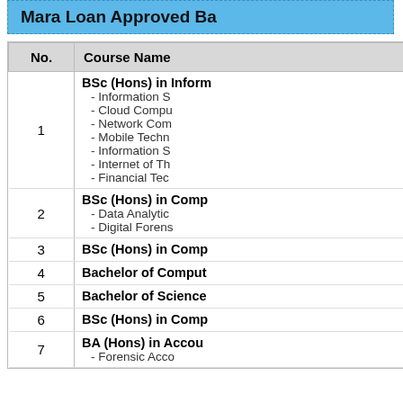Mara Loan Approved Ba...
| No. | Course Name |
| --- | --- |
| 1 | BSc (Hons) in Inform...
- Information S...
- Cloud Compu...
- Network Com...
- Mobile Techn...
- Information S...
- Internet of Th...
- Financial Tec... |
| 2 | BSc (Hons) in Comp...
- Data Analytic...
- Digital Forens... |
| 3 | BSc (Hons) in Comp... |
| 4 | Bachelor of Comput... |
| 5 | Bachelor of Science... |
| 6 | BSc (Hons) in Comp... |
| 7 | BA (Hons) in Accou...
- Forensic Acco... |